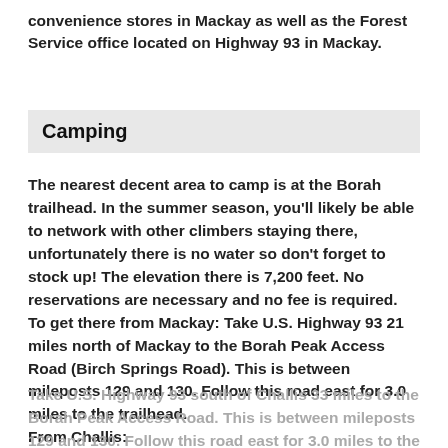convenience stores in Mackay as well as the Forest Service office located on Highway 93 in Mackay.
Camping
The nearest decent area to camp is at the Borah trailhead. In the summer season, you'll likely be able to network with other climbers staying there, unfortunately there is no water so don't forget to stock up! The elevation there is 7,200 feet. No reservations are necessary and no fee is required.
To get there from Mackay: Take U.S. Highway 93 21 miles north of Mackay to the Borah Peak Access Road (Birch Springs Road). This is between mileposts 129 and 130. Follow this road east for 3.0 miles to the trailhead.
From Challis:
Take U.S. Highway 93 south of Challis 33 miles to the Borah Peak Access Road. This is between mileposts 129 and 130. Follow this road east for 3.0 miles to the